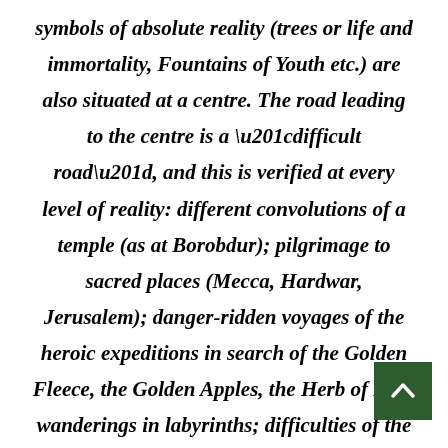symbols of absolute reality (trees or life and immortality, Fountains of Youth etc.) are also situated at a centre. The road leading to the centre is a “difficult road”, and this is verified at every level of reality: different convolutions of a temple (as at Borobdur); pilgrimage to sacred places (Mecca, Hardwar, Jerusalem); danger-ridden voyages of the heroic expeditions in search of the Golden Fleece, the Golden Apples, the Herb of Life; wanderings in labyrinths; difficulties of the seeker for the road to the self, to the “centre” of his being, and so on. The r…